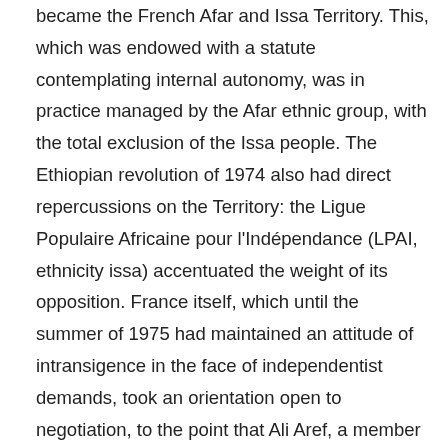became the French Afar and Issa Territory. This, which was endowed with a statute contemplating internal autonomy, was in practice managed by the Afar ethnic group, with the total exclusion of the Issa people. The Ethiopian revolution of 1974 also had direct repercussions on the Territory: the Ligue Populaire Africaine pour l'Indépendance (LPAI, ethnicity issa) accentuated the weight of its opposition. France itself, which until the summer of 1975 had maintained an attitude of intransigence in the face of independentist demands, took an orientation open to negotiation, to the point that Ali Aref, a member of the Afar ethnic group and, as such, president of the Governing Council, gave his party, L'Union et Progrès dans l'Ensemble Français, the new name